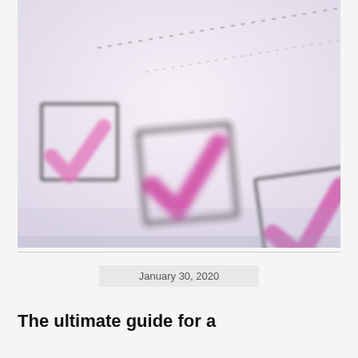[Figure (photo): Close-up photo of checkboxes on paper being checked with a pink highlighter marker, showing three checkboxes with pink check marks and a dotted line in the background]
January 30, 2020
The ultimate guide for a